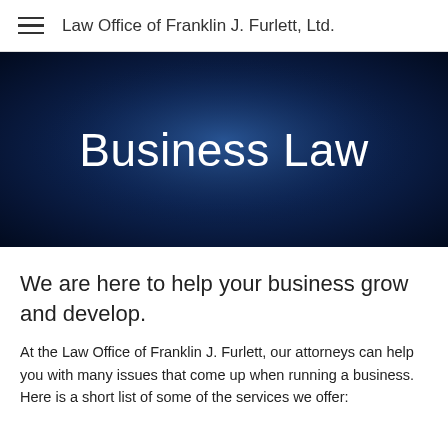Law Office of Franklin J. Furlett, Ltd.
[Figure (illustration): Dark navy blue gradient hero banner background with the title 'Business Law' in large white light-weight font centered on it.]
Business Law
We are here to help your business grow and develop.
At the Law Office of Franklin J. Furlett, our attorneys can help you with many issues that come up when running a business.  Here is a short list of some of the services we offer: